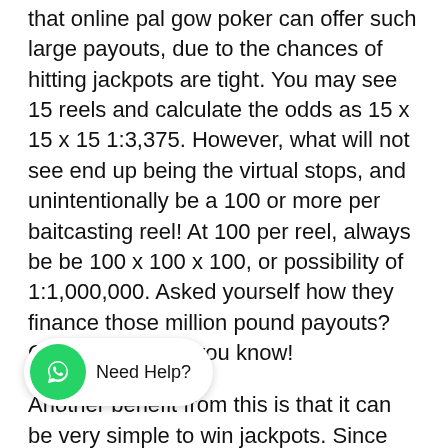that online pal gow poker can offer such large payouts, due to the chances of hitting jackpots are tight. You may see 15 reels and calculate the odds as 15 x 15 x 15 1:3,375. However, what will not see end up being the virtual stops, and unintentionally be a 100 or more per baitcasting reel! At 100 per reel, always be be 100 x 100 x 100, or possibility of 1:1,000,000. Asked yourself how they finance those million pound payouts? Congratulations, you know!
Another benefit from this is that it can be very simple to win jackpots. Since these kinds of done online, one can download and install software that will enable you to increase you chances of winning b... ado... ...t. This particular particular y... ...ll lik..., .... ... jackpot against your very first spin.